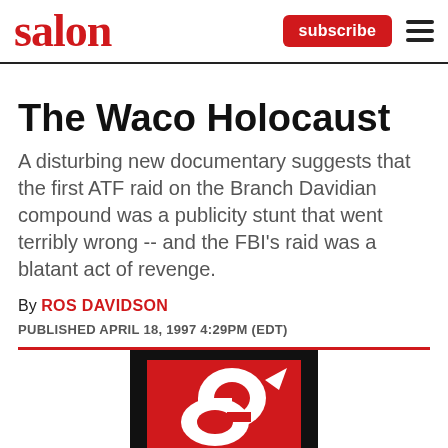salon  subscribe
The Waco Holocaust
A disturbing new documentary suggests that the first ATF raid on the Branch Davidian compound was a publicity stunt that went terribly wrong -- and the FBI's raid was a blatant act of revenge.
By ROS DAVIDSON
PUBLISHED APRIL 18, 1997 4:29PM (EDT)
[Figure (logo): Salon magazine logo: white stylized 's' on red background inside black border frame, partially cropped at bottom of page.]